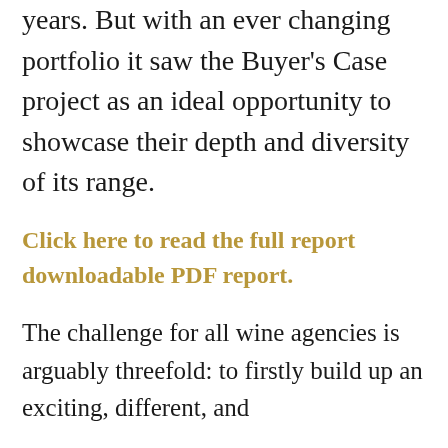years. But with an ever changing portfolio it saw the Buyer’s Case project as an ideal opportunity to showcase their depth and diversity of its range.
Click here to read the full report downloadable PDF report.
The challenge for all wine agencies is arguably threefold: to firstly build up an exciting, different, and